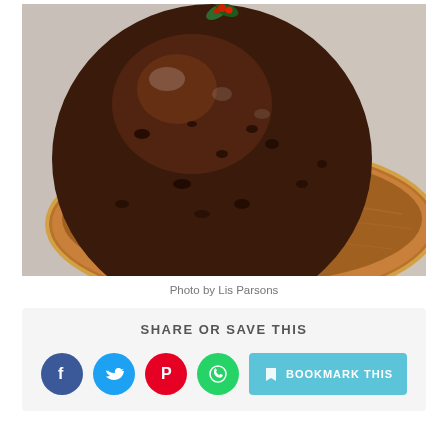[Figure (photo): A dark Christmas pudding topped with holly sitting on a copper/wooden plate, photographed from above at a slight angle on a grey surface.]
Photo by Lis Parsons
SHARE OR SAVE THIS
[Figure (infographic): Social sharing icons: Facebook (blue circle), Twitter (light blue circle), Pinterest (red circle), WhatsApp (green circle), and a teal 'BOOKMARK THIS' button with a bookmark icon.]